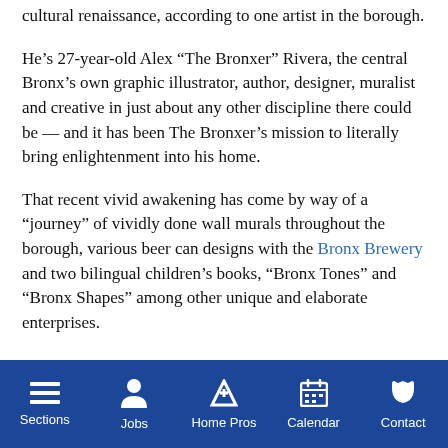cultural renaissance, according to one artist in the borough.
He’s 27-year-old Alex “The Bronxer” Rivera, the central Bronx’s own graphic illustrator, author, designer, muralist and creative in just about any other discipline there could be — and it has been The Bronxer’s mission to literally bring enlightenment into his home.
That recent vivid awakening has come by way of a “journey” of vividly done wall murals throughout the borough, various beer can designs with the Bronx Brewery and two bilingual children’s books, “Bronx Tones” and “Bronx Shapes” among other unique and elaborate enterprises.
Sections  Jobs  Home Pros  Calendar  Contact